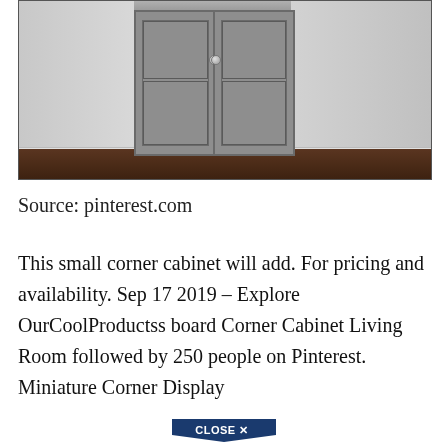[Figure (photo): A small gray corner cabinet with double doors and round knobs, set in a corner with white walls and brown carpet flooring.]
Source: pinterest.com
This small corner cabinet will add. For pricing and availability. Sep 17 2019 – Explore OurCoolProductss board Corner Cabinet Living Room followed by 250 people on Pinterest. Miniature Corner Display